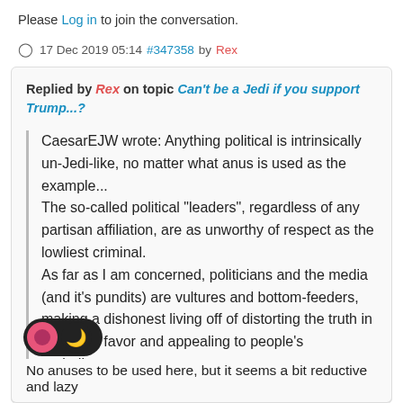Please Log in to join the conversation.
17 Dec 2019 05:14 #347358 by Rex
Replied by Rex on topic Can't be a Jedi if you support Trump...?
CaesarEJW wrote: Anything political is intrinsically un-Jedi-like, no matter what anus is used as the example...
The so-called political "leaders", regardless of any partisan affiliation, are as unworthy of respect as the lowliest criminal.
As far as I am concerned, politicians and the media (and it's pundits) are vultures and bottom-feeders, making a dishonest living off of distorting the truth in their own favor and appealing to people's prejudices.
No anuses to be used here, but it seems a bit reductive and lazy